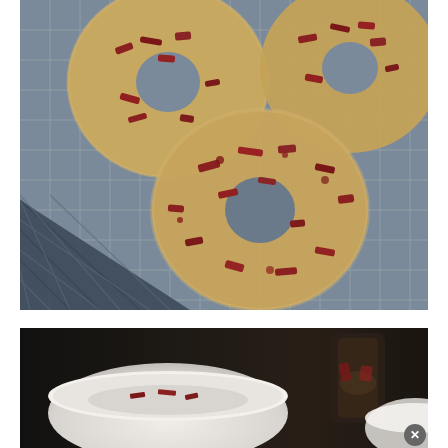[Figure (photo): Overhead view of four glazed donuts topped with crumbled bacon pieces, arranged on a metal wire cooling rack against a dark surface background]
[Figure (photo): Dark moody photo showing a white bowl and what appears to be a glass or container with bacon or food items, partially cut off at the bottom of the frame, with a small close/dismiss button overlay in the bottom right corner]